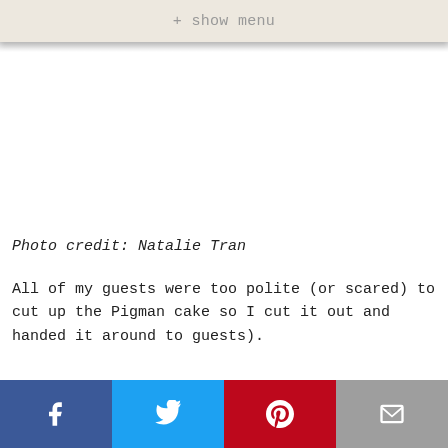+ show menu
Photo credit: Natalie Tran
All of my guests were too polite (or scared) to cut up the Pigman cake so I cut it out and handed it around to guests).
Facebook | Twitter | Pinterest | Email